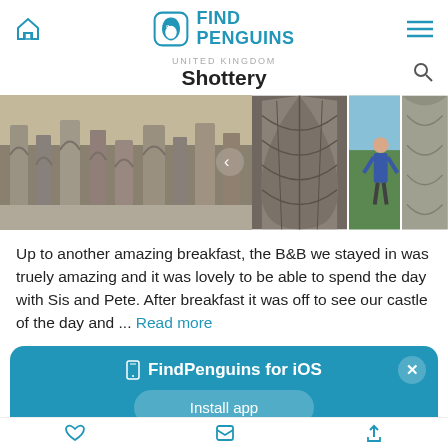FindPenguins — UNITED KINGDOM Shottery
[Figure (screenshot): Photo strip showing castle ruins (main large photo on left) and three thumbnail photos on the right: gothic arched ceiling, person outdoors, stone carving]
Up to another amazing breakfast, the B&B we stayed in was truely amazing and it was lovely to be able to spend the day with Sis and Pete. After breakfast it was off to see our castle of the day and ... Read more
[Figure (infographic): Blue banner with FindPenguins for iOS app install prompt and Install app button with close X button]